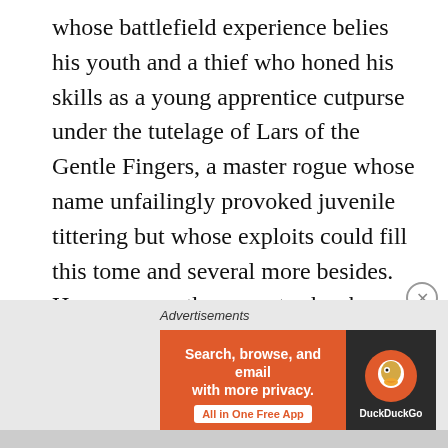whose battlefield experience belies his youth and a thief who honed his skills as a young apprentice cutpurse under the tutelage of Lars of the Gentle Fingers, a master rogue whose name unfailingly provoked juvenile tittering but whose exploits could fill this tome and several more besides. However, another narrator has been employed to chronicle his adventures, so I shall speak of him no more lest I incur my colleague's litigious wrath.

Felix, an ace archer, next dispatched with a single arrow to the eye the massive troll chained to the front gate like
[Figure (other): DuckDuckGo advertisement banner: orange background with text 'Search, browse, and email with more privacy. All in One Free App' and DuckDuckGo logo on dark background]